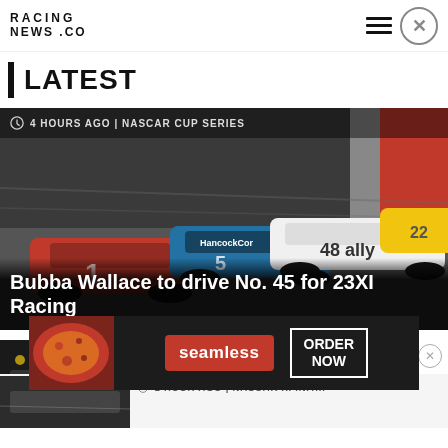RACING NEWS .CO
LATEST
[Figure (photo): NASCAR Cup Series race cars on track — cars numbered 48 (ally, white), 5 (HancocKCor, blue), 1 (red), 22 (yellow) racing side by side]
4 HOURS AGO | NASCAR CUP SERIES
Bubba Wallace to drive No. 45 for 23XI Racing
[Figure (photo): Night race photo showing racecars and track lights]
19 HOURS AGO | CARS TOUR
North Wilkesboro Results: August
[Figure (photo): Seamless food delivery advertisement showing pizza and ORDER NOW button]
1 HOUR AGO | NASCAR XFINIT...